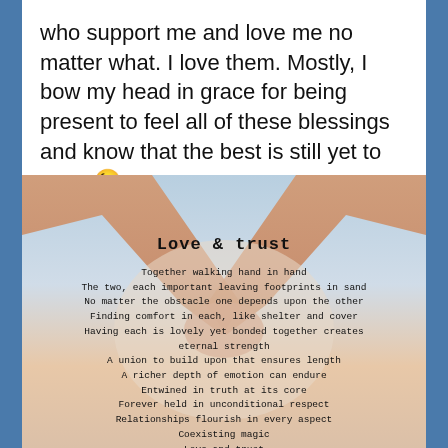who support me and love me no matter what. I love them. Mostly, I bow my head in grace for being present to feel all of these blessings and know that the best is still yet to come 😉
[Figure (illustration): Image of two hands clasped together over a sky and sunset background, with an overlaid poem titled 'Love & trust' in monospace font. The poem reads: Together walking hand in hand / The two, each important leaving footprints in sand / No matter the obstacle one depends upon the other / Finding comfort in each, like shelter and cover / Having each is lovely yet bonded together creates eternal strength / A union to build upon that ensures length / A richer depth of emotion can endure / Entwined in truth at its core / Forever held in unconditional respect / Relationships flourish in every aspect / Coexisting magic / Love and trust / @ladysag77]